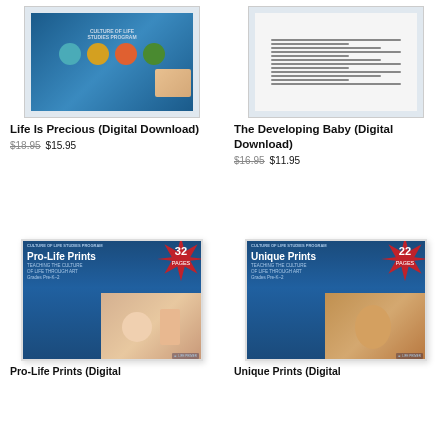[Figure (photo): Cover of Life Is Precious Cultural of Life Studies Program book showing children and colored circles]
[Figure (photo): Cover of The Developing Baby worksheet/document showing supplemental materials lesson]
Life Is Precious (Digital Download)
$18.95 $15.95
The Developing Baby (Digital Download)
$16.95 $11.95
[Figure (photo): Pro-Life Prints book cover with starburst showing 32 PAGES, Culture of Life Studies Program, teaching the culture of life through art, Grades Pre-K-2, showing teacher and children with painted hands]
[Figure (photo): Unique Prints book cover with starburst showing 22 PAGES, Culture of Life Studies Program, teaching the culture of life through art, Grades Pre-K-2, showing child with painted hands]
Pro-Life Prints (Digital Download)
Unique Prints (Digital Download)